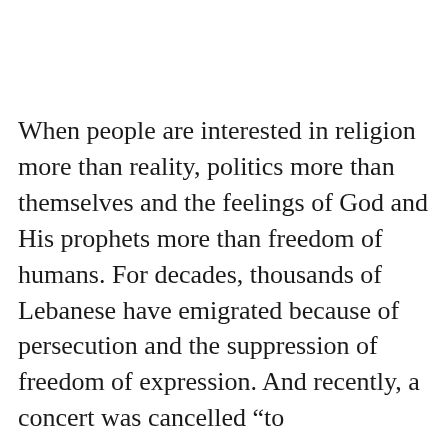When people are interested in religion more than reality, politics more than themselves and the feelings of God and His prophets more than freedom of humans. For decades, thousands of Lebanese have emigrated because of persecution and the suppression of freedom of expression. And recently, a concert was cancelled “to